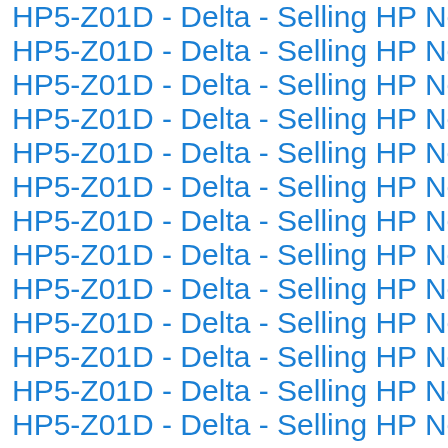HP5-Z01D - Delta - Selling HP Networking
HP5-Z01D - Delta - Selling HP Networking
HP5-Z01D - Delta - Selling HP Networking
HP5-Z01D - Delta - Selling HP Networking
HP5-Z01D - Delta - Selling HP Networking
HP5-Z01D - Delta - Selling HP Networking
HP5-Z01D - Delta - Selling HP Networking
HP5-Z01D - Delta - Selling HP Networking
HP5-Z01D - Delta - Selling HP Networking
HP5-Z01D - Delta - Selling HP Networking
HP5-Z01D - Delta - Selling HP Networking
HP5-Z01D - Delta - Selling HP Networking
HP5-Z01D - Delta - Selling HP Networking